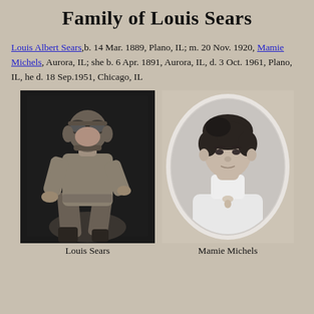Family of Louis Sears
Louis Albert Sears,b. 14 Mar. 1889, Plano, IL; m. 20 Nov. 1920, Mamie Michels, Aurora, IL; she b. 6 Apr. 1891, Aurora, IL, d. 3 Oct. 1961, Plano, IL, he d. 18 Sep.1951, Chicago, IL
[Figure (photo): Black and white portrait photograph of Louis Sears wearing an aviator helmet and goggles, seated in a flying suit]
[Figure (photo): Black and white oval portrait photograph of Mamie Michels, a young woman with dark hair wearing a white high-collar dress with a pendant necklace]
Louis Sears
Mamie Michels